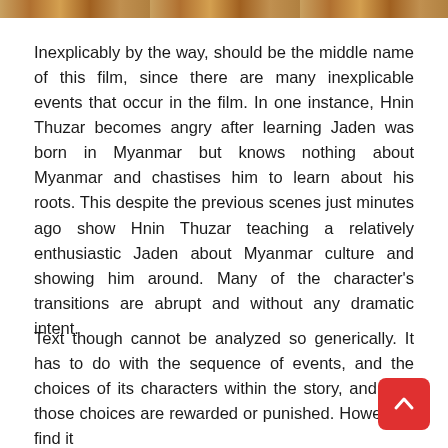[Figure (photo): Partial image strip at the top of the page showing a colorful scene, cropped to a narrow horizontal band.]
Inexplicably by the way, should be the middle name of this film, since there are many inexplicable events that occur in the film. In one instance, Hnin Thuzar becomes angry after learning Jaden was born in Myanmar but knows nothing about Myanmar and chastises him to learn about his roots. This despite the previous scenes just minutes ago show Hnin Thuzar teaching a relatively enthusiastic Jaden about Myanmar culture and showing him around. Many of the character's transitions are abrupt and without any dramatic intent.
Text though cannot be analyzed so generically. It has to do with the sequence of events, and the choices of its characters within the story, and how those choices are rewarded or punished. However I find it